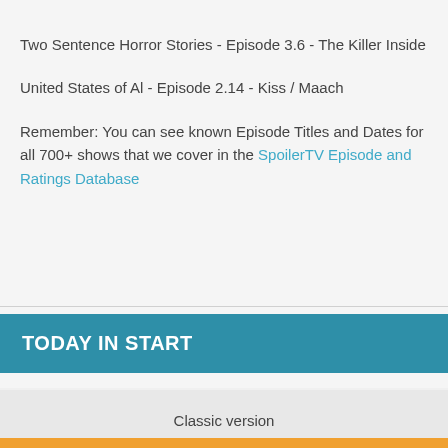Two Sentence Horror Stories - Episode 3.6 - The Killer Inside
United States of Al - Episode 2.14 - Kiss / Maach
Remember: You can see known Episode Titles and Dates for all 700+ shows that we cover in the SpoilerTV Episode and Ratings Database
TODAY IN START
Classic version
Powered by marfeel